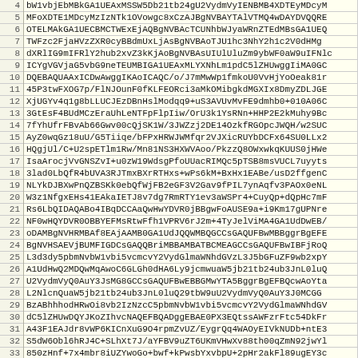| line | content |
| --- | --- |
| 4 | bW1vbjEbMBkGA1UEAxMSSW5Db21tb24gU2VydmVyIENBMB4XDTEyMDcyM |
| 5 | MFoXDTE1MDcyMzIzNTk1OVowgc8xCzAJBgNVBAYTAlVTMQ4wDAYDVQQRE |
| 6 | OTELMAkGA1UECBMCTWExEjAQBgNVBAcTCUNhbWJyaWRnZTEdMBsGA1UEQ |
| 7 | TWFzc2FjaHVzZXR0cyBBdmUxLjAsBgNVBAoTJU1hc3NhY2h1c2V0dHMg |
| 8 | dXRlIG9mIFRlY2hub2xvZ3kKjAoBgNVBAsUIUlUluZm9ybWF0aW9uIFNlc |
| 9 | ICYgVGVjaG5vbG9neTEUMBIGA1UEAxMLYXNhLm1pdC5lZHUwggIiMA0GC |
| 10 | DQEBAQUAAxICDwAwggIKAoICAQC/o/J7mMwWp1fmkoU0VvHjYoOeak81r |
| 11 | 45P3twFXOG7p/FlNJOunF0fKLFEORci3aMkOMibgkdMGXIx8DmyZDLJGE |
| 12 | XjUGYv4q1g8bLLUCJEzDBnHslModqq9+uS3AVUvMvFE9dmhb0+010A06C |
| 13 | 3GtEsF4BUdMCzEraUhLeNTFpFlpIiw/OrU3k1YsRNn+HHP2E2kMuhy9Bc |
| 14 | 7fYhUfrFBvAb66Gwv00cQjSK1W/3JWZzj2DE14OzkfRGOpcJWQH/w2SUC |
| 15 | AyZ0wqGz18uU/G5Tiiqe/bFPxHRWJWMfqr2VJXicRUYbDCFx64SU0LLx2 |
| 16 | HQgjUl/C+U2spETlm1Rw/Mn81NS3HXWVAoo/PkzzQ8OWxwkqKUUS0jHWe |
| 17 | IsaArocjVvGNSZvI+u0zW19WdsgPfoUUacRIMQc5pTSB8msVUCL7uyyts |
| 18 | 3lad0LbQfR4bUVA3RJTmxBXrRTHxs+wPs6kM+BxHx1EABe/usD2ffgenC |
| 19 | NLYkDJBXwPnQZBSKk0ebQfWjFB2eGF3V2Gav9fPIL7ynAqfv3PAOx0eNL |
| 20 | W3z1NfgxEHs41EAkaIETJ8v7dg7RmRTY1ev3aWSPr4+CuyQp+dQpHc7mF |
| 21 | Rs6LbQIDAQABo4IBqDCCAaQwHwYDVR0jBBgwFoAUSE9a+i9Km17gUPNre |
| 22 | NF0wHQYDVR0OBBYEFMsRtwFfh1VPRV6rJ2m+4TyJelViMA4GA1UdDwEB/ |
| 23 | oDAMBgNVHRMBAf8EAjAAMB0GA1UdJQQWMBQGCCsGAQUFBwMBBggrBgEFE |
| 24 | BgNVHSAEVjBUMFIGDCsGAQQBriMBBAMBATBCMEAGCCsGAQUFBwIBFjRoQ |
| 25 | L3d3dy5pbmNvbW1vbi5vcmcvY2VydGlmaWNhdGVzL3J5bGFuZF9wb2xpY |
| 26 | A1UdHwQ2MDQwMqAwoC6GLGh0dHA6Ly9jcmwuaW5jb21tb24ub3JnL0luQ |
| 27 | U2VydmVyQ0EuY3JsMG8GCCsGAQUFBwEBBGMwYTA5BggrBgEFBQcwAoYta |
| 28 | L2NlcnQuaW5jb21tb24ub3JnL0luQ29tbW9uU2VydmVyQ0EuY3J0MCGG |
| 29 | BzABhhhodHRwOi8vb2IzNzcC5pbmNvbW1vbi5vcmcvY2VydGlmaWNhdGV |
| 30 | dC5lZHUwDQYJKoZIhvcNAQEFBQADggEBAE0PX3EQtssAWFzrFtc54DkFr |
| 31 | A43F1EAJdr8vWP6KICnXuG9O4rpmZvUZ/EygrQq4WAOyEIVkNUDb+ntE3 |
| 32 | S5dW6Obl6hRJ4C+SLhXt7J/aYFBV9uZT6UKmVHwXv88th00qZmN92jwYl |
| 33 | 850zHnf+7x4mbr8iUZYwoGo+bwf+kPwsbYxvbpU+2pHr2akFl89ugEY3c |
| 34 | +kSmC/vQDVMChN4am3xMLeAbBSZW4oUpfzndE9zDzQgA3fa7qBLMeREXY |
| 35 | y6Vu11F3CMP/d9+pu11WHHy16XRNmTKLbx1zY5n+hF5JhATTddR88rA= |